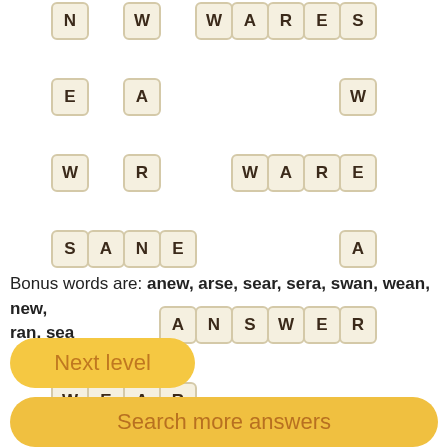[Figure (other): Word puzzle grid showing letter tiles arranged to form words: WARES, NEW, WARE, SANE, ANSWER, WEAR, NEAR and shared letters]
Bonus words are: anew, arse, sear, sera, swan, wean, new, ran, sea
Next level
Search more answers